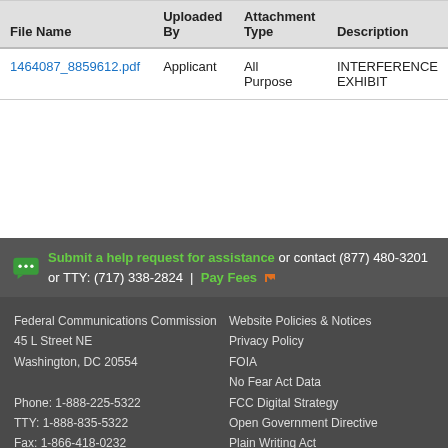| File Name | Uploaded By | Attachment Type | Description |
| --- | --- | --- | --- |
| 1464087_8859612.pdf | Applicant | All Purpose | INTERFERENCE EXHIBIT |
Submit a help request for assistance or contact (877) 480-3201 or TTY: (717) 338-2824 | Pay Fees
Federal Communications Commission
45 L Street NE
Washington, DC 20554

Phone: 1-888-225-5322
TTY: 1-888-835-5322
Fax: 1-866-418-0232
E-mail: fccinfo@fcc.gov

Website Policies & Notices
Privacy Policy
FOIA
No Fear Act Data
FCC Digital Strategy
Open Government Directive
Plain Writing Act
RSS Feeds & Email Updates
Accessibility